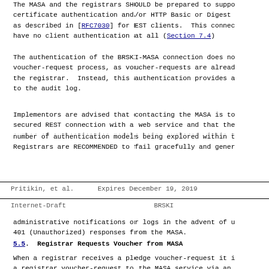The MASA and the registrars SHOULD be prepared to support certificate authentication and/or HTTP Basic or Digest as described in [RFC7030] for EST clients. This connection have no client authentication at all (Section 7.4)
The authentication of the BRSKI-MASA connection does not voucher-request process, as voucher-requests are already the registrar. Instead, this authentication provides a to the audit log.
Implementors are advised that contacting the MASA is to secured REST connection with a web service and that the number of authentication models being explored within t Registrars are RECOMMENDED to fail gracefully and gener
Pritikin, et al.          Expires December 19, 2019
Internet-Draft                          BRSKI
administrative notifications or logs in the advent of u 401 (Unauthorized) responses from the MASA.
5.5.  Registrar Requests Voucher from MASA
When a registrar receives a pledge voucher-request it i a registrar voucher-request to the MASA service via an